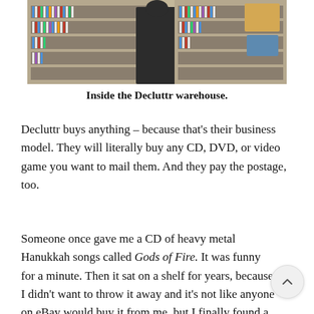[Figure (photo): Photo of the inside of the Decluttr warehouse showing a person browsing shelves stacked with CDs and DVDs.]
Inside the Decluttr warehouse.
Decluttr buys anything – because that's their business model. They will literally buy any CD, DVD, or video game you want to mail them. And they pay the postage, too.
Someone once gave me a CD of heavy metal Hanukkah songs called Gods of Fire. It was funny for a minute. Then it sat on a shelf for years, because I didn't want to throw it away and it's not like anyone on eBay would buy it from me, but I finally found a taker. The new